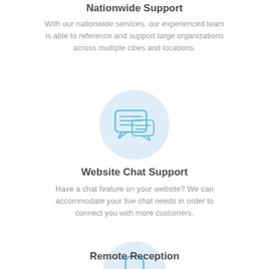Nationwide Support
With our nationwide services, our experienced team is able to reference and support large organizations across multiple cities and locations.
[Figure (illustration): Light blue circle with a chat bubbles icon (two speech/message bubbles with horizontal lines representing text) centered within it.]
Website Chat Support
Have a chat feature on your website? We can accommodate your live chat needs in order to connect you with more customers.
[Figure (illustration): Light blue circle with a padlock/lock icon centered within it, representing security or remote access.]
Remote Reception